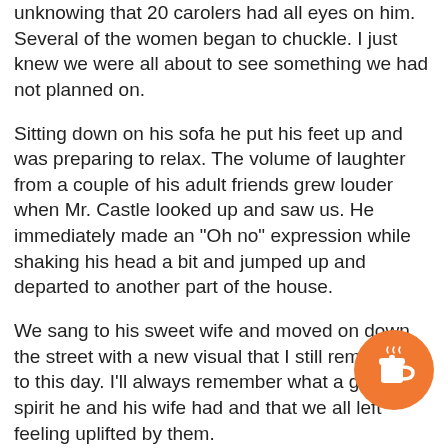unknowing that 20 carolers had all eyes on him. Several of the women began to chuckle. I just knew we were all about to see something we had not planned on.
Sitting down on his sofa he put his feet up and was preparing to relax. The volume of laughter from a couple of his adult friends grew louder when Mr. Castle looked up and saw us. He immediately made an "Oh no" expression while shaking his head a bit and jumped up and departed to another part of the house.
We sang to his sweet wife and moved on down the street with a new visual that I still remember to this day. I'll always remember what a good spirit he and his wife had and that we all left feeling uplifted by them.
This week I walked to the back of a local nursing home to look through a window to see a friend. Ms. Southard is 99.
My wife and I visited in her home recently. She was mentally sharp and dancing around like she always. Her attitude always lifts us up. She did say on that very day we were there, "I don't want to end up in a nursing home. I
[Figure (logo): Orange circular badge with a coffee cup icon]